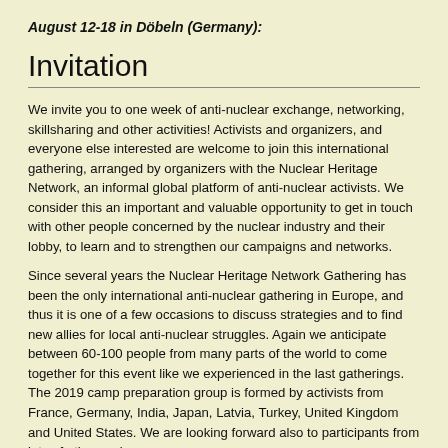August 12-18 in Döbeln (Germany):
Invitation
We invite you to one week of anti-nuclear exchange, networking, skillsharing and other activities! Activists and organizers, and everyone else interested are welcome to join this international gathering, arranged by organizers with the Nuclear Heritage Network, an informal global platform of anti-nuclear activists. We consider this an important and valuable opportunity to get in touch with other people concerned by the nuclear industry and their lobby, to learn and to strengthen our campaigns and networks.
Since several years the Nuclear Heritage Network Gathering has been the only international anti-nuclear gathering in Europe, and thus it is one of a few occasions to discuss strategies and to find new allies for local anti-nuclear struggles. Again we anticipate between 60-100 people from many parts of the world to come together for this event like we experienced in the last gatherings. The 2019 camp preparation group is formed by activists from France, Germany, India, Japan, Latvia, Turkey, United Kingdom and United States. We are looking forward also to participants from lots of other regions.
You can expect to meet many interesting people who are interested to